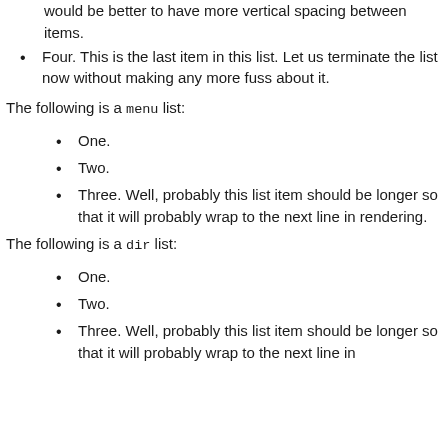would be better to have more vertical spacing between items.
Four. This is the last item in this list. Let us terminate the list now without making any more fuss about it.
The following is a menu list:
One.
Two.
Three. Well, probably this list item should be longer so that it will probably wrap to the next line in rendering.
The following is a dir list:
One.
Two.
Three. Well, probably this list item should be longer so that it will probably wrap to the next line in